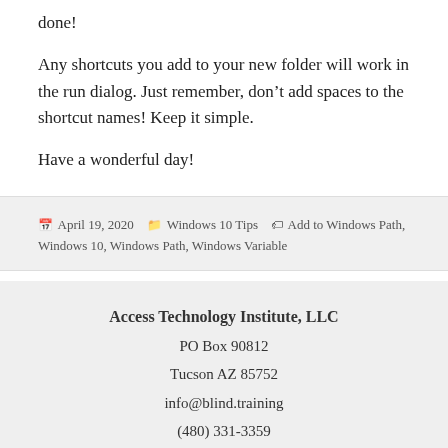done!
Any shortcuts you add to your new folder will work in the run dialog. Just remember, don’t add spaces to the shortcut names! Keep it simple.
Have a wonderful day!
April 19, 2020  Windows 10 Tips  Add to Windows Path, Windows 10, Windows Path, Windows Variable
Access Technology Institute, LLC
PO Box 90812
Tucson AZ 85752
info@blind.training
(480) 331-3359